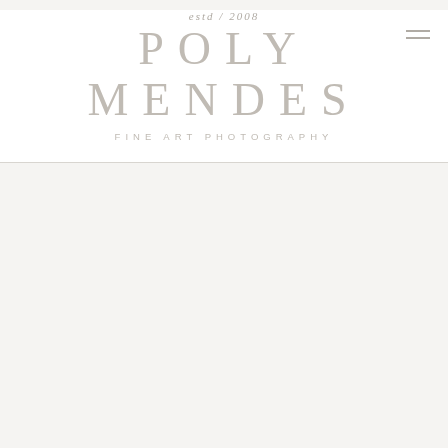estd / 2008
POLY MENDES
FINE ART PHOTOGRAPHY
WELOME TO MY BLOG